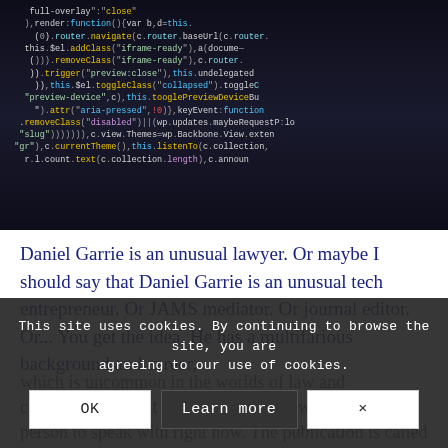[Figure (screenshot): Screenshot of a code editor or terminal showing JavaScript code with colorful syntax highlighting on a dark background. Visible functions include navigate, addClass, removeClass, trigger, toggleClass, togglePreviewDevice, attr, currentTheme, listenTo.]
Daniel Garrie is an unusual lawyer. Or maybe I should say that Daniel Garrie is an unusual tech entrepreneur. Or JAMS mediator. Or journal editor. Or... You get the idea. He has a multifarious background and career, which is uncommon in the worlds of law and cybersecurity. That was one reason he was a good person to speak with right now. The publication he edits right now, the publication is called the Cyber Warfare.
This site uses cookies. By continuing to browse the site, you are agreeing to our use of cookies.